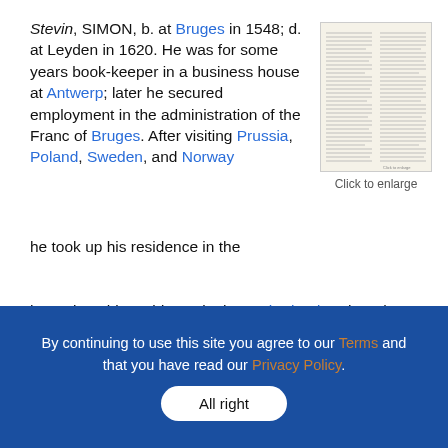Stevin, SIMON, b. at Bruges in 1548; d. at Leyden in 1620. He was for some years book-keeper in a business house at Antwerp; later he secured employment in the administration of the Franc of Bruges. After visiting Prussia, Poland, Sweden, and Norway he took up his residence in the Netherlands, where he spent the rest of his life. The Stadtholder Maurice of Nassau esteemed him so highly that he studied under his direction mathematics, science, and engineering, rewarding him for his services by making him director of finances
[Figure (other): Thumbnail image of a dictionary or encyclopedia page with dense text columns]
Click to enlarge
By continuing to use this site you agree to our Terms and that you have read our Privacy Policy.
All right